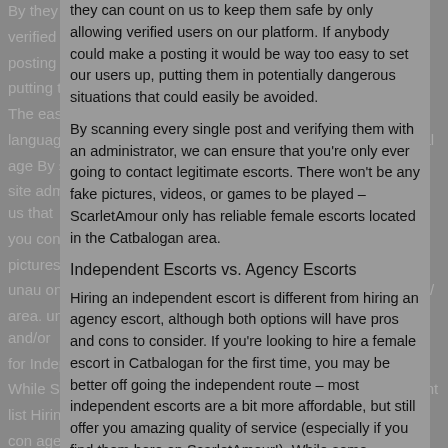they can count on us to keep them safe by only allowing verified users on our platform. If anybody could make a posting it would be way too easy to set our users up, putting them in potentially dangerous situations that could easily be avoided.
By scanning every single post and verifying them with an administrator, we can ensure that you're only ever going to contact legitimate escorts. There won't be any fake pictures, videos, or games to be played – ScarletAmour only has reliable female escorts located in the Catbalogan area.
Independent Escorts vs. Agency Escorts
Hiring an independent escort is different from hiring an agency escort, although both options will have pros and cons to consider. If you're looking to hire a female escort in Catbalogan for the first time, you may be better off going the independent route – most independent escorts are a bit more affordable, but still offer you amazing quality of service (especially if you find them here on ScarletAmour!). While some individuals will avoid independent escorts whenever they can, it just means that there's more ass out there for you to enjoy yourself. Independent escorts allow you to avoid all of the "nonsense" that can be associated with hiring an agency escort.